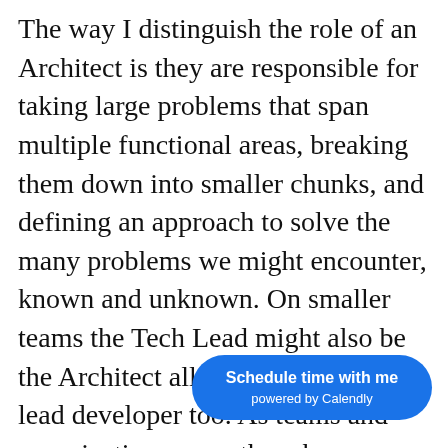The way I distinguish the role of an Architect is they are responsible for taking large problems that span multiple functional areas, breaking them down into smaller chunks, and defining an approach to solve the many problems we might encounter, known and unknown. On smaller teams the Tech Lead might also be the Architect all while being the lead developer too. As teams and organizations grow there becomes more of a need for someone who is responsible for understanding the bigger picture, across multiple teams or projects, and how to best manage the complexity to keep those teams and
[Figure (other): Calendly 'Schedule time with me' button overlay in blue rounded rectangle]